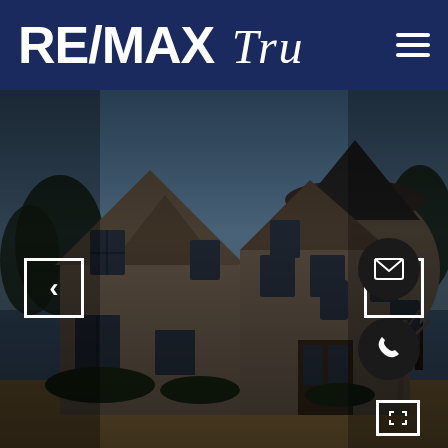[Figure (logo): RE/MAX Tru logo on dark navy blue header bar with hamburger menu icon on the right]
[Figure (photo): Large two-story stone/brick house exterior photograph with dark overlay. House has multiple gabled rooflines, a round turret on the right, large windows, and is set against a blue sky with trees. A dirt/grass yard is visible in the foreground. Navigation arrows on left and right sides. Email and phone contact buttons on bottom right. Expand icon at bottom right corner.]